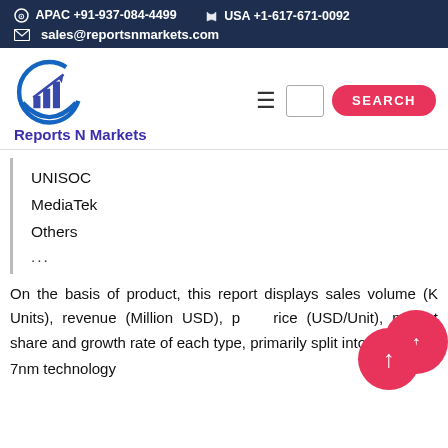APAC +91-937-084-4499   USA +1-617-671-0092   sales@reportsnmarkets.com
[Figure (logo): Reports N Markets logo with circular bar chart icon and arrow, blue and purple colors]
UNISOC
MediaTek
Others
...
On the basis of product, this report displays sales volume (K Units), revenue (Million USD), price (USD/Unit), market share and growth rate of each type, primarily split into
7nm technology